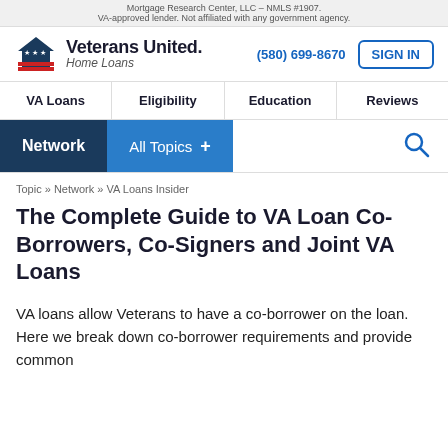Mortgage Research Center, LLC – NMLS #1907. VA-approved lender. Not affiliated with any government agency.
[Figure (logo): Veterans United Home Loans logo with house icon and American flag stripes]
(580) 699-8670
SIGN IN
VA Loans | Eligibility | Education | Reviews
Network | All Topics +
Topic » Network » VA Loans Insider
The Complete Guide to VA Loan Co-Borrowers, Co-Signers and Joint VA Loans
VA loans allow Veterans to have a co-borrower on the loan. Here we break down co-borrower requirements and provide common